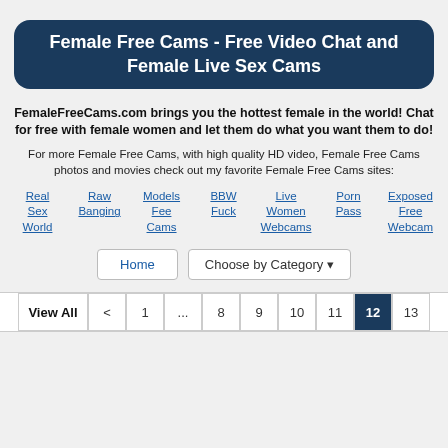Female Free Cams - Free Video Chat and Female Live Sex Cams
FemaleFreeCams.com brings you the hottest female in the world! Chat for free with female women and let them do what you want them to do!
For more Female Free Cams, with high quality HD video, Female Free Cams photos and movies check out my favorite Female Free Cams sites:
Real Sex World
Raw Banging
Models Fee Cams
BBW Fuck
Live Women Webcams
Porn Pass
Exposed Free Webcam
Home | Choose by Category
View All < 1 ... 8 9 10 11 12 13